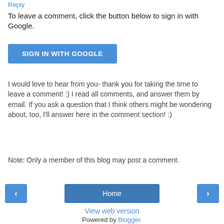Reply
To leave a comment, click the button below to sign in with Google.
[Figure (other): Blue 'SIGN IN WITH GOOGLE' button]
I would love to hear from you- thank you for taking the time to leave a comment! :) I read all comments, and answer them by email. If you ask a question that I think others might be wondering about, too, I'll answer here in the comment section! :)
Note: Only a member of this blog may post a comment.
[Figure (other): Navigation bar with left arrow button, Home button, and right arrow button]
View web version
Powered by Blogger.